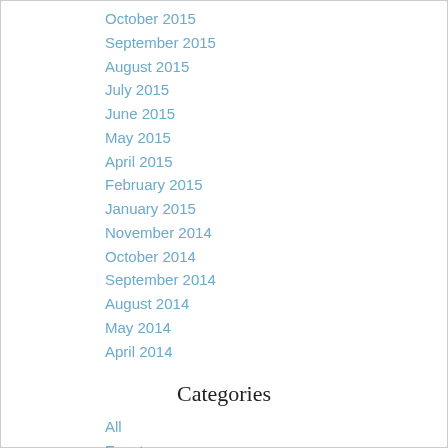October 2015
September 2015
August 2015
July 2015
June 2015
May 2015
April 2015
February 2015
January 2015
November 2014
October 2014
September 2014
August 2014
May 2014
April 2014
Categories
All
Events
Talks
Trip Reports